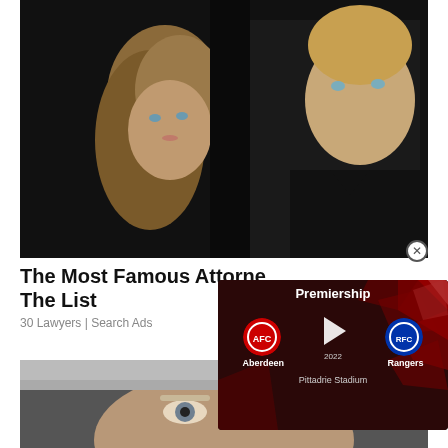[Figure (photo): A man and woman posing together against a dark background. The woman has long blonde hair and the man is wearing a black shirt.]
The Most Famous Attorn... The List
30 Lawyers | Search Ads
[Figure (infographic): Premiership football widget showing Aberdeen vs Rangers, with team logos, play button, date (2022), and Pittadrie Stadium label.]
[Figure (photo): Close-up of a face with light hair, showing eyes.]